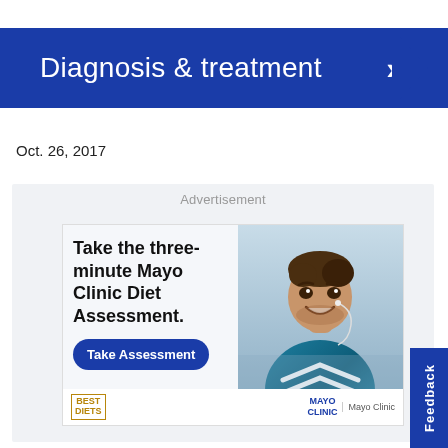Diagnosis & treatment
Oct. 26, 2017
[Figure (screenshot): Advertisement panel: Mayo Clinic Diet Assessment ad featuring a smiling man in athletic wear with earbuds. Text: 'Take the three-minute Mayo Clinic Diet Assessment.' with a 'Take Assessment' button. Bottom bar shows Best Diets and Mayo Clinic logos.]